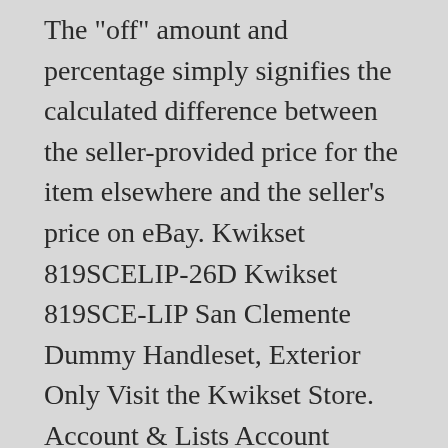The "off" amount and percentage simply signifies the calculated difference between the seller-provided price for the item elsewhere and the seller's price on eBay. Kwikset 819SCELIP-26D Kwikset 819SCE-LIP San Clemente Dummy Handleset, Exterior Only Visit the Kwikset Store. Account & Lists Account Returns & Orders. Starting at $130.81. Kwikset Halifax lever can be installed with just a screwdriver. Available SmartKey Active Handleset and Dummy-Inactive function. Low Prices + Fast & Free Shipping on Most Orders. Add a bit of refinement to your doors with stylish Kwikset San Clemente handlesets from Door Locks Direct. Share; Kwikset Iron Black 228 Products. 4.6 out of 5 stars 380. Handleset